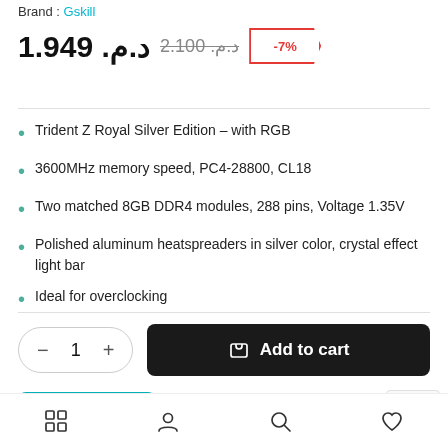Brand : Gskill
د.م. 1.949  د.م. 2.100  -7%
Trident Z Royal Silver Edition – with RGB
3600MHz memory speed, PC4-28800, CL18
Two matched 8GB DDR4 modules, 288 pins, Voltage 1.35V
Polished aluminum heatspreaders in silver color, crystal effect light bar
Ideal for overclocking
1  Add to cart
Buy Now